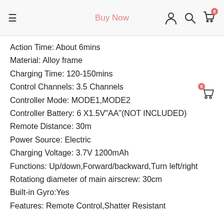Buy Now
Action Time: About 6mins
Material: Alloy frame
Charging Time: 120-150mins
Control Channels: 3.5 Channels
Controller Mode: MODE1,MODE2
Controller Battery: 6 X1.5V"AA"(NOT INCLUDED)
Remote Distance: 30m
Power Source: Electric
Charging Voltage: 3.7V 1200mAh
Functions: Up/down,Forward/backward,Turn left/right
Rotationg diameter of main airscrew: 30cm
Built-in Gyro:Yes
Features: Remote Control,Shatter Resistant
Feature 1: Voltage protection unit